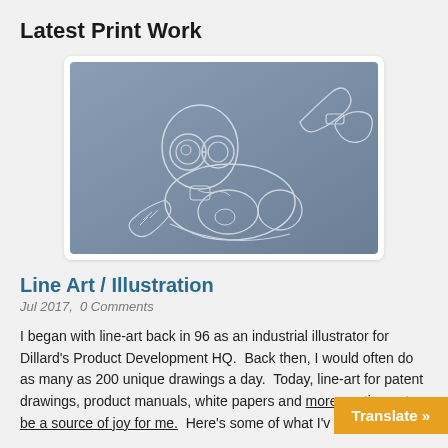Latest Print Work
[Figure (illustration): Line art illustration of a robot/character with goggles and mechanical details lying down, on a grey-blue gradient background]
Line Art / Illustration
Jul 2017,  0 Comments
I began with line-art back in 96 as an industrial illustrator for Dillard's Product Development HQ.  Back then, I would often do as many as 200 unique drawings a day.  Today, line-art for patent drawings, product manuals, white papers and more continues to be a source of joy for me.  Here's some of what I'v